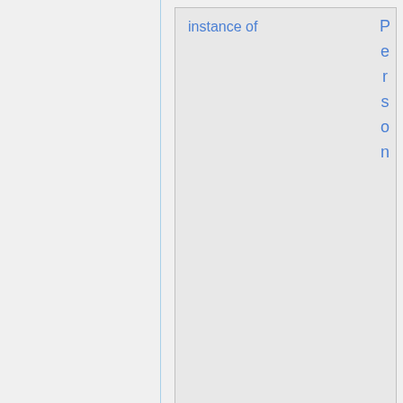[Figure (other): UI panel showing a knowledge graph card with property 'instance of' linking to 'Person' with 0 references, and a second card with property 'hasName' linking to 'Clara' with a recommendation indicator. A vertical blue line separates left and right panels.]